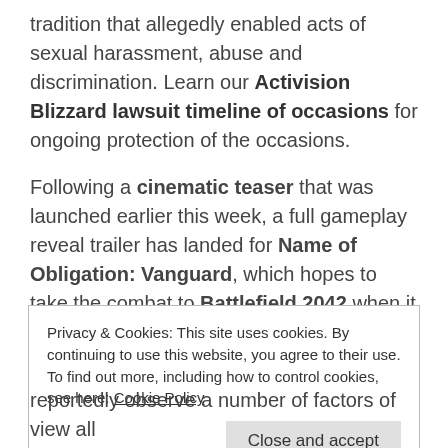tradition that allegedly enabled acts of sexual harassment, abuse and discrimination. Learn our Activision Blizzard lawsuit timeline of occasions for ongoing protection of the occasions.
Following a cinematic teaser that was launched earlier this week, a full gameplay reveal trailer has landed for Name of Obligation: Vanguard, which hopes to take the combat to Battlefield 2042 when it launches for PC, PS4, PS5, Xbox One, Xbox Sequence X and Sequence S on November 5, 2021.
Privacy & Cookies: This site uses cookies. By continuing to use this website, you agree to their use.
To find out more, including how to control cookies, see here: Cookie Policy
[Close and accept button]
reportedly observe a number of factors of view all